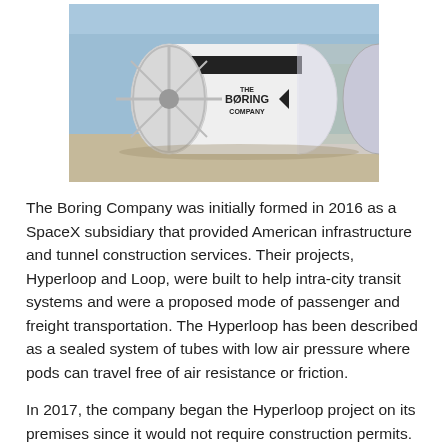[Figure (photo): Photograph of The Boring Company tunnel boring machine with the company logo visible on the cylindrical white machine casing, outdoors on a construction site.]
The Boring Company was initially formed in 2016 as a SpaceX subsidiary that provided American infrastructure and tunnel construction services. Their projects, Hyperloop and Loop, were built to help intra-city transit systems and were a proposed mode of passenger and freight transportation. The Hyperloop has been described as a sealed system of tubes with low air pressure where pods can travel free of air resistance or friction.
In 2017, the company began the Hyperloop project on its premises since it would not require construction permits. The intention is to expand the Loop project all around the U.S., and they currently have three fully functional machines. The Boring Company is actively constructing and plans for future projects in both the Los Angeles and